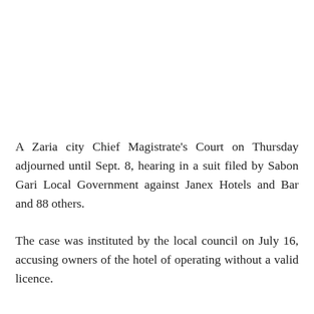A Zaria city Chief Magistrate's Court on Thursday adjourned until Sept. 8, hearing in a suit filed by Sabon Gari Local Government against Janex Hotels and Bar and 88 others.
The case was instituted by the local council on July 16, accusing owners of the hotel of operating without a valid licence.